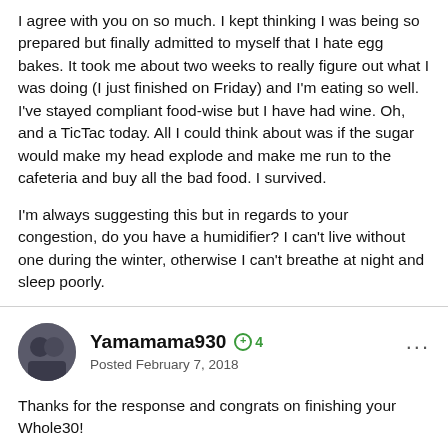I agree with you on so much. I kept thinking I was being so prepared but finally admitted to myself that I hate egg bakes. It took me about two weeks to really figure out what I was doing (I just finished on Friday) and I'm eating so well. I've stayed compliant food-wise but I have had wine. Oh, and a TicTac today. All I could think about was if the sugar would make my head explode and make me run to the cafeteria and buy all the bad food. I survived.
I'm always suggesting this but in regards to your congestion, do you have a humidifier? I can't live without one during the winter, otherwise I can't breathe at night and sleep poorly.
Yamamama930
Posted February 7, 2018
Thanks for the response and congrats on finishing your Whole30!
haha I hear you.  By the end of week two I had gone through so much hot sauce just to make the frittatas more palatable that I realized I needed to make a change. I feel the exact same way about sugar.  I'm actually nervous to consume any for fear of the